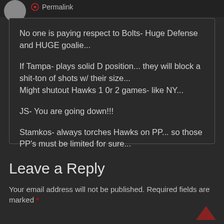[Figure (other): User avatar circle cropped at top and permalink icon with text]
No one is paying respect to Bolts- Huge Defense and HUGE goalie...

If Tampa- plays solid D position... they will block a shit-ton of shots w/ their size...
Might shutout Hawks 1 0r 2 games- like NY...

JS- You are going down!!!

Stamkos- always torches Hawks on PP... so those PP's must be limited for sure...
Leave a Reply
Your email address will not be published. Required fields are marked *